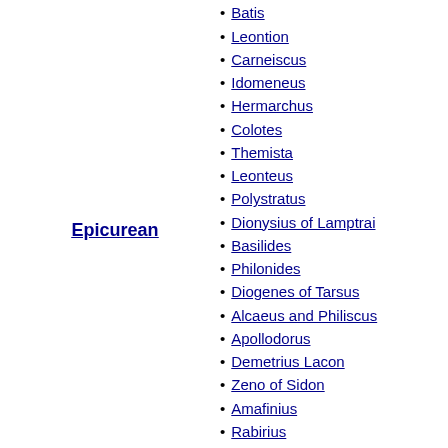Metrodorus
Batis
Leontion
Carneiscus
Idomeneus
Hermarchus
Colotes
Themista
Leonteus
Polystratus
Dionysius of Lamptrai
Basilides
Philonides
Diogenes of Tarsus
Alcaeus and Philiscus
Apollodorus
Demetrius Lacon
Zeno of Sidon
Amafinius
Rabirius
Titus Albucius
Phaedrus
Philodemus
Lucretius
Patro
Catius
Epicurean